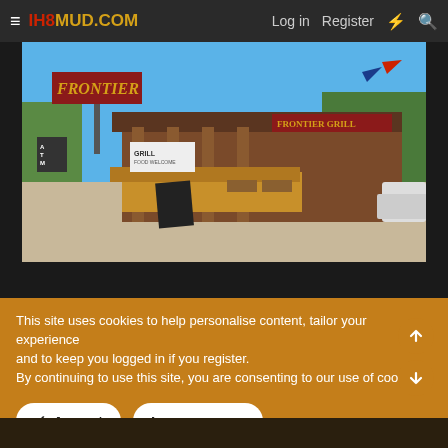IH8MUD.COM  Log in  Register
[Figure (photo): Outdoor photo of a Frontier Grill restaurant with a large red Frontier sign, log cabin style building, outdoor seating with wooden planters, blue sky, and a gravel parking lot in the foreground.]
This site uses cookies to help personalise content, tailor your experience and to keep you logged in if you register.
By continuing to use this site, you are consenting to our use of cookies.
✓ Accept    Learn more...